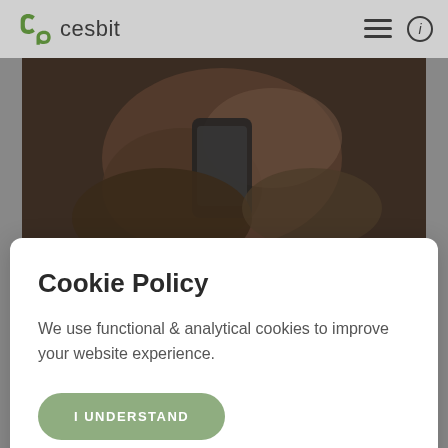cesbit
[Figure (photo): Hands holding a smartphone, dark moody photo used as website hero image]
Cookie Policy
We use functional & analytical cookies to improve your website experience.
I UNDERSTAND